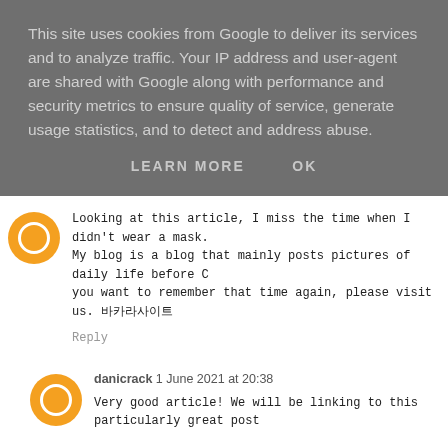This site uses cookies from Google to deliver its services and to analyze traffic. Your IP address and user-agent are shared with Google along with performance and security metrics to ensure quality of service, generate usage statistics, and to detect and address abuse.
LEARN MORE   OK
Looking at this article, I miss the time when I didn't wear a mask. My blog is a blog that mainly posts pictures of daily life before C... you want to remember that time again, please visit us. 바카라사이트
Reply
danicrack  1 June 2021 at 20:38
Very good article! We will be linking to this particularly great post... up the good writing.
KuTools Crack
TunesKit Spotify Crack
Razer Surround Crack